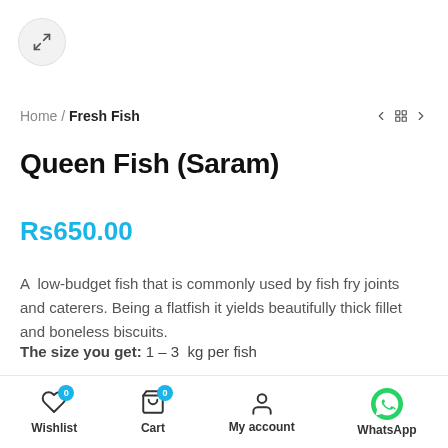[Figure (other): Expand/fullscreen button — circular grey button with expand arrows icon]
Home / Fresh Fish
Queen Fish (Saram)
Rs650.00
A low-budget fish that is commonly used by fish fry joints and caterers. Being a flatfish it yields beautifully thick fillet and boneless biscuits.
The size you get: 1 – 3 kg per fish
Note: All our prices and billings are based on the pre-cleaning/cutting weight of the seafood. The net weight at the time of
Wishlist  Cart  My account  WhatsApp